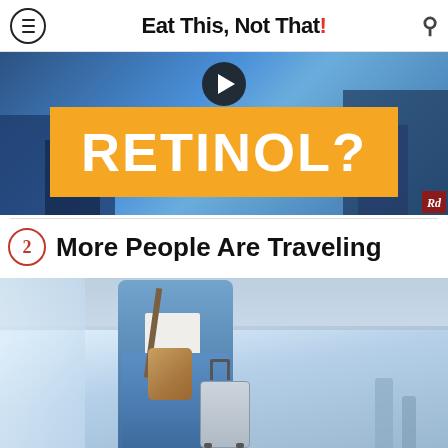Eat This, Not That!
[Figure (screenshot): Video thumbnail showing the word RETINOL? in white text on an orange banner, overlaid on a city background with a play button. Rd badge in bottom-right corner.]
2 More People Are Traveling
[Figure (photo): Photo of a man in a blue jacket and jeans carrying a shoulder bag and rolling luggage, walking through an airport terminal.]